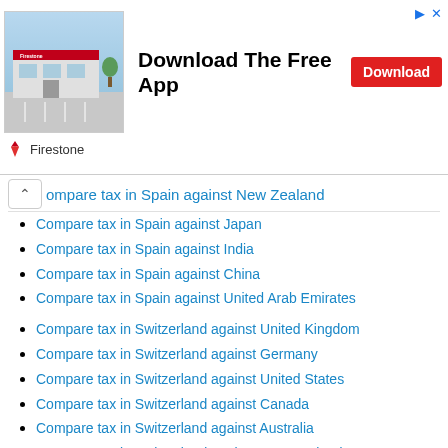[Figure (photo): Firestone store advertisement banner with building photo, 'Download The Free App' headline, and red Download button]
Compare tax in Spain against New Zealand
Compare tax in Spain against Japan
Compare tax in Spain against India
Compare tax in Spain against China
Compare tax in Spain against United Arab Emirates
Compare tax in Switzerland against United Kingdom
Compare tax in Switzerland against Germany
Compare tax in Switzerland against United States
Compare tax in Switzerland against Canada
Compare tax in Switzerland against Australia
Compare tax in Switzerland against New Zealand
Compare tax in Switzerland against Japan
Compare tax in Switzerland against India
Compare tax in Switzerland against China
Compare tax in Switzerland against United Arab Emirates
Compare tax in United Kingdom against Germany
Compare tax in United Kingdom against United States